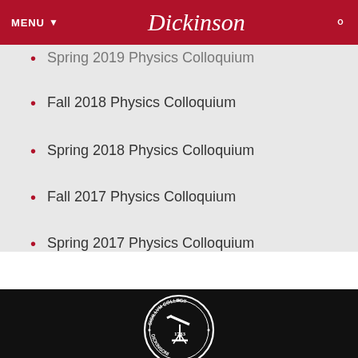MENU  Dickinson
Spring 2019 Physics Colloquium
Fall 2018 Physics Colloquium
Spring 2018 Physics Colloquium
Fall 2017 Physics Colloquium
Spring 2017 Physics Colloquium
[Figure (logo): Dickinson College circular seal with telescope, books, and Latin motto 'PIETATE ET DOCTRINA TUA LIBERTAS', dated 1783]
DICKINSON COLLEGE
P.O. BOX 1773, CARLISLE, PA 17013  |  (800) 644-1773